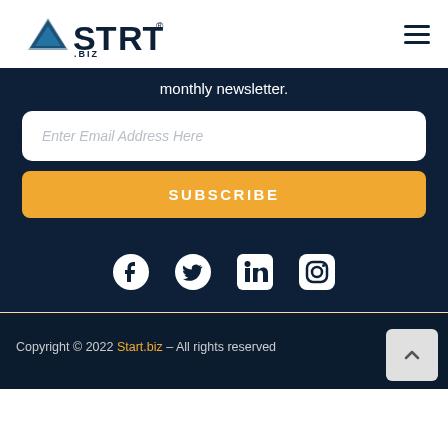[Figure (logo): START.biz logo with triangular arrow icon and registered trademark symbol, dark navy color]
monthly newsletter.
[Figure (screenshot): Email input field with placeholder text 'Enter Email Address Here']
SUBSCRIBE
[Figure (infographic): Social media icons: Facebook, Twitter, LinkedIn, Instagram in white on dark navy background]
Copyright © 2022 Start.biz – All rights reserved